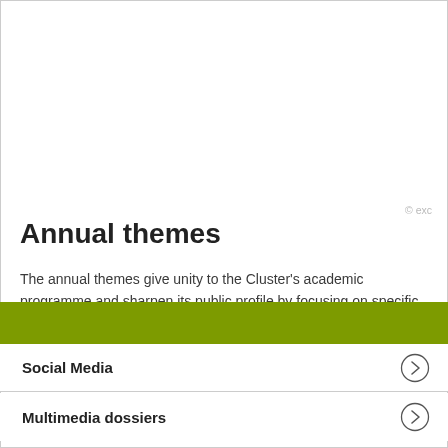[Figure (photo): White/blank upper image area with copyright mark '© exc' at bottom right]
Annual themes
The annual themes give unity to the Cluster's academic programme and sharpen its public profile by focusing on specific research themes and highlighting interdisciplinary strengths.
[Figure (other): Olive/dark yellow-green horizontal bar banner]
Social Media
Multimedia dossiers